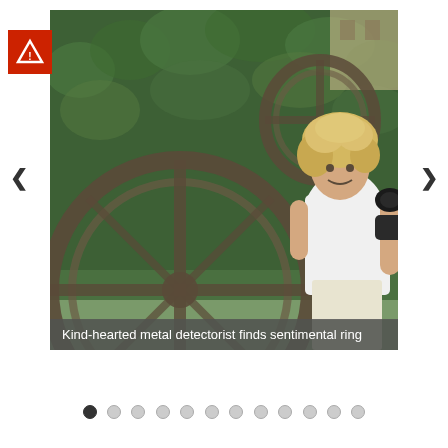[Figure (photo): A woman with curly blonde hair wearing a white shirt, holding a metal detector with a large circular coil in front of her, standing in front of a green hedge. A red logo badge with letter A is visible in the top-left corner of the image frame.]
Kind-hearted metal detectorist finds sentimental ring